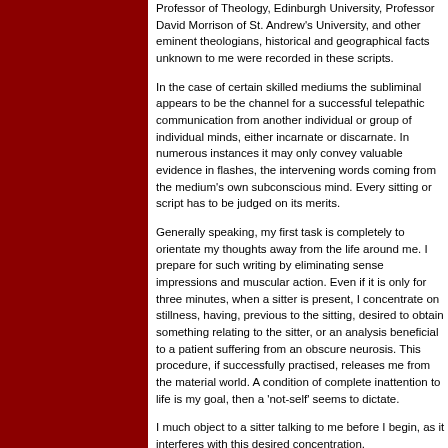Professor of Theology, Edinburgh University, Professor David Morrison of St. Andrew's University, and other eminent theologians, historical and geographical facts unknown to me were recorded in these scripts.
In the case of certain skilled mediums the subliminal appears to be the channel for a successful telepathic communication from another individual or group of individual minds, either incarnate or discarnate. In numerous instances it may only convey valuable evidence in flashes, the intervening words coming from the medium's own subconscious mind. Every sitting or script has to be judged on its merits.
Generally speaking, my first task is completely to orientate my thoughts away from the life around me. I prepare for such writing by eliminating sense impressions and muscular action. Even if it is only for three minutes, when a sitter is present, I concentrate on stillness, having, previous to the sitting, desired to obtain something relating to the sitter, or an analysis beneficial to a patient suffering from an obscure neurosis. This procedure, if successfully practised, releases me from the material world. A condition of complete inattention to life is my goal, then a 'not-self' seems to dictate.
I much object to a sitter talking to me before I begin, as it interferes with this desired concentration.